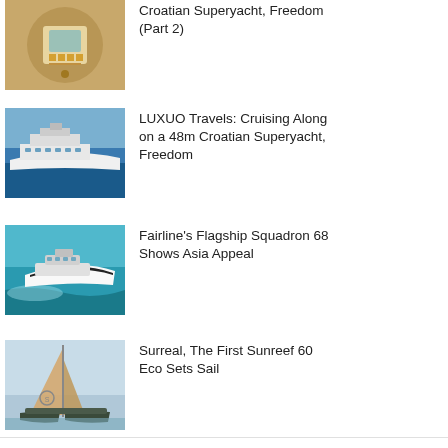Croatian Superyacht, Freedom (Part 2)
LUXUO Travels: Cruising Along on a 48m Croatian Superyacht, Freedom
Fairline's Flagship Squadron 68 Shows Asia Appeal
Surreal, The First Sunreef 60 Eco Sets Sail